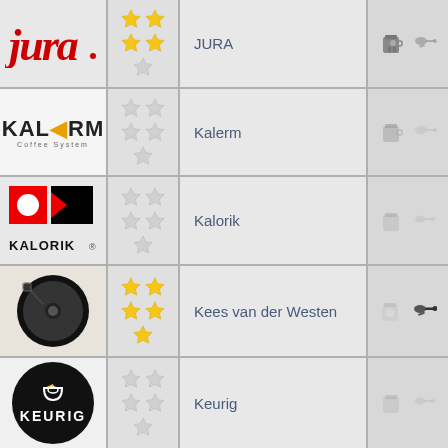[Figure (logo): JURA logo - red italic text with dot]
[Figure (infographic): Star rating: 4 out of 5 stars filled (yellow), 1 empty]
JURA
[Figure (infographic): Coffee machine icon and key icon]
[Figure (logo): KALERM Coffee System logo - bold black text with lightning bolt]
[Figure (infographic): Star rating: 0 out of 5 stars filled, all empty]
Kalerm
[Figure (infographic): Coffee machine icon and key icon (muted)]
[Figure (logo): KALORIK logo - red square with white circle, black K shape, KALORIK text]
[Figure (infographic): Star rating: 0 out of 5 stars filled, all empty]
Kalorik
[Figure (infographic): Coffee machine icon and key icon (muted)]
[Figure (logo): Kees van der Westen logo - circular orbital rocket/machine illustration]
[Figure (infographic): Star rating: 5 out of 5 stars filled (yellow)]
Kees van der Westen
[Figure (infographic): Coffee machine icon and dark key icon]
[Figure (logo): KEURIG logo - black circle with white cup and star, white KEURIG text]
[Figure (infographic): Star rating: 0 out of 5 stars filled, all empty]
Keurig
[Figure (infographic): Coffee machine icon and key icon (muted)]